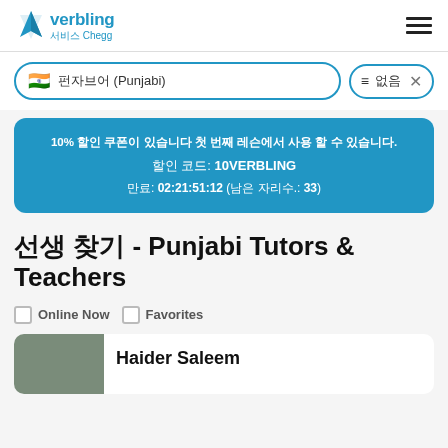[Figure (logo): Verbling logo with blue triangle icon and text 'verbling 서비스 Chegg']
펀자브어 (Punjabi)
필터 없음 ×
10% 할인 쿠폰이 있습니다 첫 번째 레슨에서 사용 가능합니다.
할인 코드: 10VERBLING
만료: 02:21:51:12 (남은 자리수.: 33)
선생 찾기 - Punjabi Tutors & Teachers
Online Now
Favorites
[Figure (photo): Tutor photo, partially visible at bottom of page]
Haider Saleem